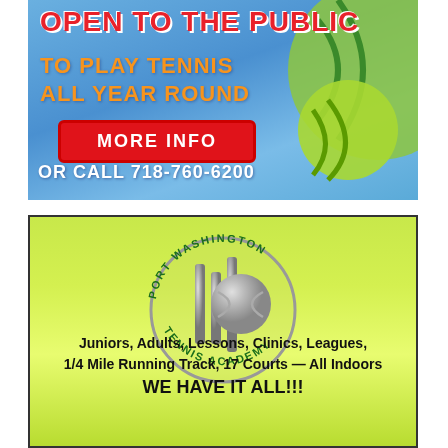[Figure (infographic): Blue background advertisement: OPEN TO THE PUBLIC TO PLAY TENNIS ALL YEAR ROUND, red MORE INFO button, OR CALL 718-760-6200, with tennis ball graphic]
[Figure (infographic): Port Washington Tennis Academy ad: logo with tennis ball and net posts in circular design with curved text PORT WASHINGTON TENNIS ACADEMY, yellow-green gradient background, text about Juniors Adults Lessons Clinics Leagues 1/4 Mile Running Track 17 Courts All Indoors WE HAVE IT ALL!!!]